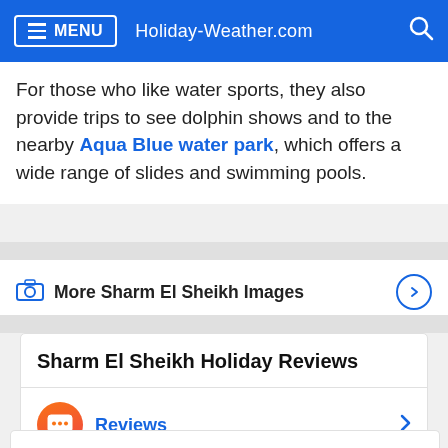MENU  Holiday-Weather.com
For those who like water sports, they also provide trips to see dolphin shows and to the nearby Aqua Blue water park, which offers a wide range of slides and swimming pools.
More Sharm El Sheikh Images
Sharm El Sheikh Holiday Reviews
Reviews